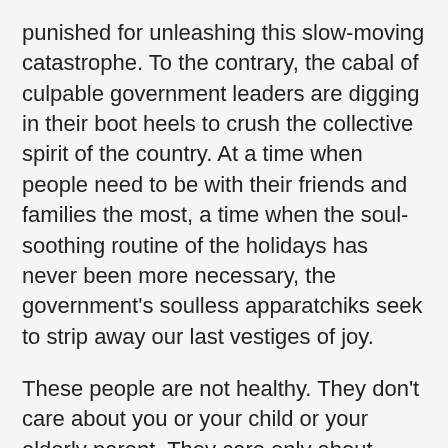punished for unleashing this slow-moving catastrophe. To the contrary, the cabal of culpable government leaders are digging in their boot heels to crush the collective spirit of the country. At a time when people need to be with their friends and families the most, a time when the soul-soothing routine of the holidays has never been more necessary, the government’s soulless apparatchiks seek to strip away our last vestiges of joy.
These people are not healthy. They don’t care about you or your child or your elderly parent. They care only about power and control. They should be mocked then ignored. Sadly, however, millions of brainwashed Americans will dutifully comply. Cherished moments will